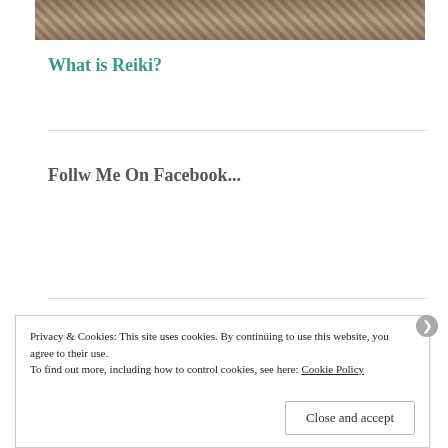[Figure (photo): Cropped photo strip showing what appears to be animals or figures, brown and grey tones]
What is Reiki?
Follw Me On Facebook...
Privacy & Cookies: This site uses cookies. By continuing to use this website, you agree to their use.
To find out more, including how to control cookies, see here: Cookie Policy
Close and accept